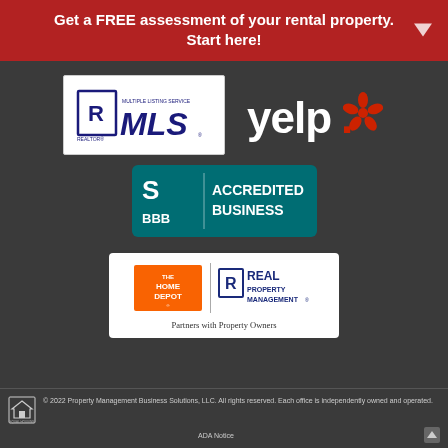Get a FREE assessment of your rental property. Start here!
[Figure (logo): REALTOR MLS Multiple Listing Service logo]
[Figure (logo): Yelp logo]
[Figure (logo): BBB Accredited Business logo]
[Figure (logo): The Home Depot and Real Property Management - Partners with Property Owners]
© 2022 Property Management Business Solutions, LLC. All rights reserved. Each office is independently owned and operated.   ADA Notice